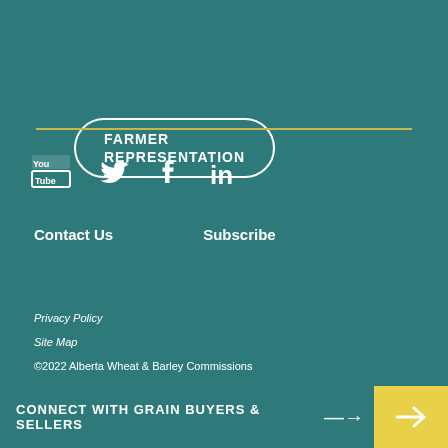FARMER REPRESENTATION
[Figure (other): Social media icons: YouTube, Twitter, Facebook, LinkedIn]
Contact Us   Subscribe
Privacy Policy
Site Map
©2022 Alberta Wheat & Barley Commissions
CONNECT WITH GRAIN BUYERS & SELLERS